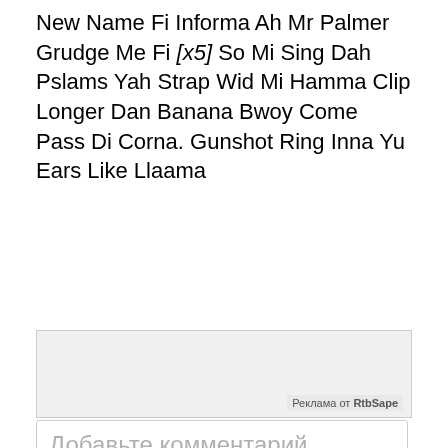New Name Fi Informa Ah Mr Palmer Grudge Me Fi [x5] So Mi Sing Dah Pslams Yah Strap Wid Mi Hamma Clip Longer Dan Banana Bwoy Come Pass Di Corna. Gunshot Ring Inna Yu Ears Like Llaama
[Figure (other): Advertisement box with grey background, labeled 'Реклама от RtbSape' in the bottom-right corner]
Добавьте комментарий...